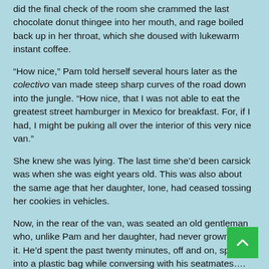did the final check of the room she crammed the last chocolate donut thingee into her mouth, and rage boiled back up in her throat, which she doused with lukewarm instant coffee.
“How nice,” Pam told herself several hours later as the colectivo van made steep sharp curves of the road down into the jungle. “How nice, that I was not able to eat the greatest street hamburger in Mexico for breakfast. For, if I had, I might be puking all over the interior of this very nice van.”
She knew she was lying. The last time she’d been carsick was when she was eight years old. This was also about the same age that her daughter, Ione, had ceased tossing her cookies in vehicles.
Now, in the rear of the van, was seated an old gentleman who, unlike Pam and her daughter, had never grown out if it. He’d spent the past twenty minutes, off and on, spitting into a plastic bag while conversing with his seatmates….(continu